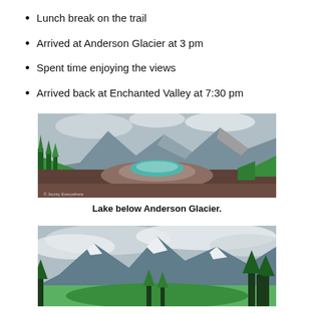Lunch break on the trail
Arrived at Anderson Glacier at 3 pm
Spent time enjoying the views
Arrived back at Enchanted Valley at 7:30 pm
[Figure (photo): Panoramic photograph of a lake below Anderson Glacier, with rocky terrain, conifer trees, and cloudy mountain peaks. Watermark reads '© Jaunty Everywhere'.]
Lake below Anderson Glacier.
[Figure (photo): Panoramic photograph of rugged mountain peaks with green conifer trees in foreground, snow patches, and overcast cloudy sky.]